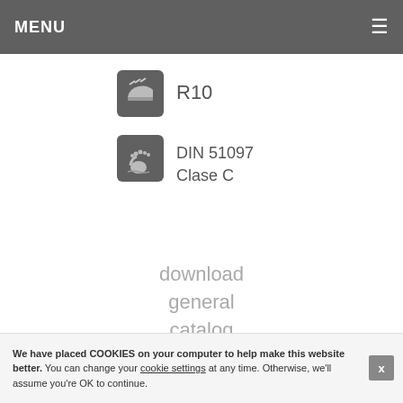MENU
[Figure (logo): R10 slip resistance icon - shoe on surface, dark rounded square background]
R10
[Figure (logo): DIN 51097 Clase C wet barefoot slip resistance icon - foot on surface, dark rounded square background]
DIN 51097
Clase C
download
general
catalog
We have placed COOKIES on your computer to help make this website better. You can change your cookie settings at any time. Otherwise, we'll assume you're OK to continue.